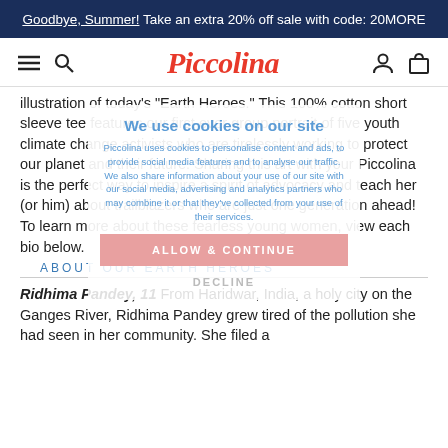Goodbye, Summer! Take an extra 20% off sale with code: 20MORE
[Figure (logo): Piccolina brand logo with hamburger menu, search, user, and bag icons]
illustration of today's "Earth Heroes." This 100% cotton short sleeve tee features our first ever group portrait of five youth climate change activists who are tirelessly working to protect our planet and their future. Sharing this art with your Piccolina is the perfect way to inspire a spirit of advocacy and teach her (or him) about trailblazers who are just one generation ahead! To learn more about these fearless young women, view each bio below.
ABOUT OUR EARTH HEROES
Ridhima Pandey, 11 From Haridwar, India, a holy city on the Ganges River, Ridhima Pandey grew tired of the pollution she had seen in her community. She filed a